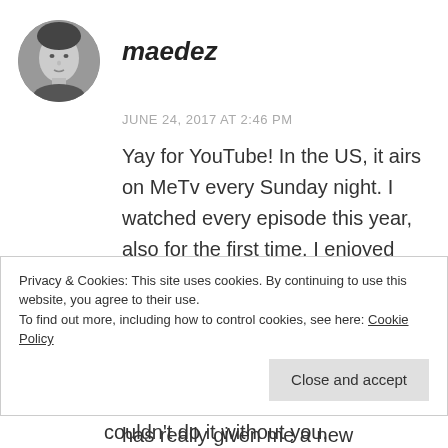[Figure (photo): Circular avatar photo of a person in black and white]
maedez
JUNE 24, 2017 AT 2:46 PM
Yay for YouTube! In the US, it airs on MeTv every Sunday night. I watched every episode this year, also for the first time. I enjoyed tuning in once a week to see where the next episode would take me. I've always liked Darren McGavin ( I mean, hello A Christmas Story!), but this show has really given me a new appreciation of
Privacy & Cookies: This site uses cookies. By continuing to use this website, you agree to their use.
To find out more, including how to control cookies, see here: Cookie Policy
Close and accept
couldn't do it without you.